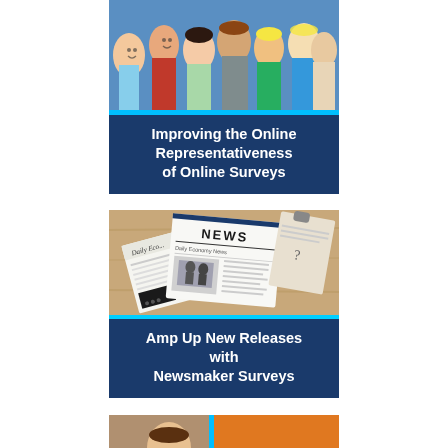[Figure (photo): Group photo of diverse people smiling, used as header image for first card]
Improving the Online Representativeness of Online Surveys
[Figure (photo): Newspapers and tablet showing news content, used as header image for second card]
Amp Up New Releases with Newsmaker Surveys
[Figure (photo): Partial view of third card image at bottom of page]